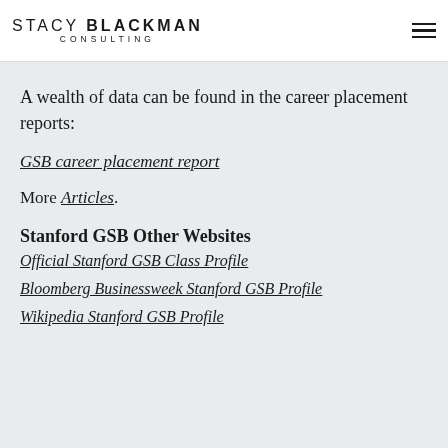STACY BLACKMAN CONSULTING
A wealth of data can be found in the career placement reports:
GSB career placement report
More Articles.
Stanford GSB Other Websites
Official Stanford GSB Class Profile
Bloomberg Businessweek Stanford GSB Profile
Wikipedia Stanford GSB Profile